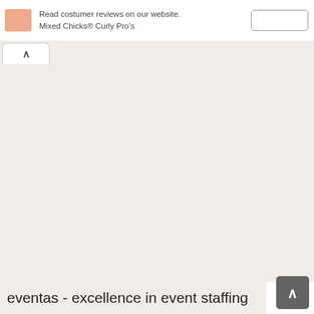Read costumer reviews on our website. Mixed Chicks® Curly Pro's
[Figure (screenshot): Large empty beige/off-white content area representing a webpage body]
eventas - excellence in event staffing